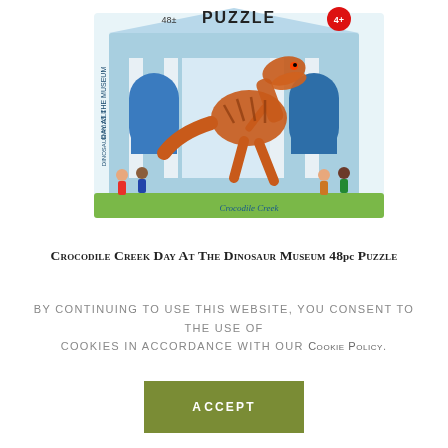[Figure (photo): Product photo of Crocodile Creek Day At The Dinosaur Museum 48pc Puzzle box. The box is shaped like a museum building with white columns and blue facade. A large T-Rex skeleton figure stands in front. Children are pictured around the building. Text on box reads PUZZLE, 48pc, 4+, Day at the Museum, Dinosaur Puzzle, Crocodile Creek.]
Crocodile Creek Day At The Dinosaur Museum 48pc Puzzle
By continuing to use this website, you consent to the use of cookies in accordance with our Cookie Policy.
ACCEPT